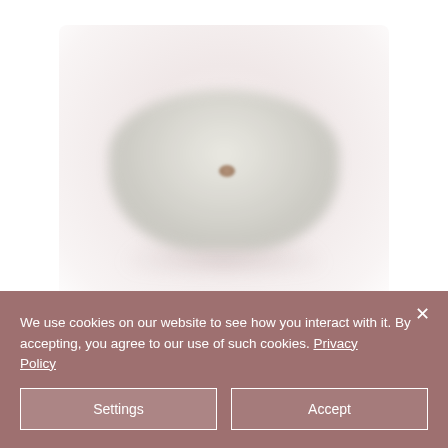[Figure (photo): Blurred product photo of a white/cream faux fur bag (Ted Baker LOPSEY) on a light pinkish background]
TED BAKER – LOPSEY Faux Fur
We use cookies on our website to see how you interact with it. By accepting, you agree to our use of such cookies. Privacy Policy
Settings
Accept